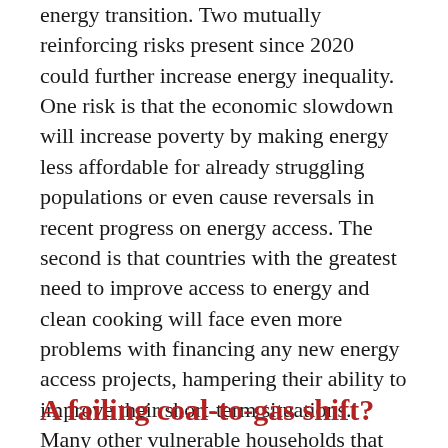energy transition. Two mutually reinforcing risks present since 2020 could further increase energy inequality. One risk is that the economic slowdown will increase poverty by making energy less affordable for already struggling populations or even cause reversals in recent progress on energy access. The second is that countries with the greatest need to improve access to energy and clean cooking will face even more problems with financing any new energy access projects, hampering their ability to improve their short-term situations. Many other vulnerable households that currently have access to electricity have been increasingly unable to pay their bills since 2020.
A failing coal-to-gas shift?